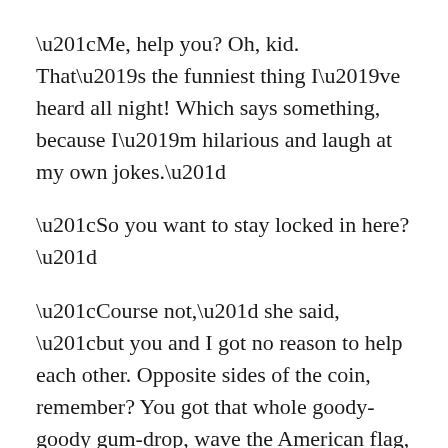“Me, help you? Oh, kid. That’s the funniest thing I’ve heard all night! Which says something, because I’m hilarious and laugh at my own jokes.”
“So you want to stay locked in here?”
“Course not,” she said, “but you and I got no reason to help each other. Opposite sides of the coin, remember? You got that whole goody-goody gum-drop, wave the American flag, wholesome girl next door apple pie thing going on, and me-”
“None of that matters now!”